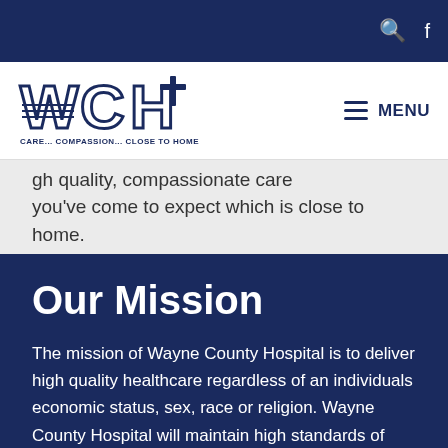WCH — Care... Compassion... Close to Home | MENU
[Figure (logo): WCH logo with blue stylized letters and a plus sign, tagline: CARE... COMPASSION... CLOSE TO HOME]
high quality, compassionate care you've come to expect which is close to home.
Our Mission
The mission of Wayne County Hospital is to deliver high quality healthcare regardless of an individuals economic status, sex, race or religion. Wayne County Hospital will maintain high standards of quality in all aspects of care, and will strive to meet the patients' needs promptly, professionally, and efficiently in a friendly and caring manner. Care will